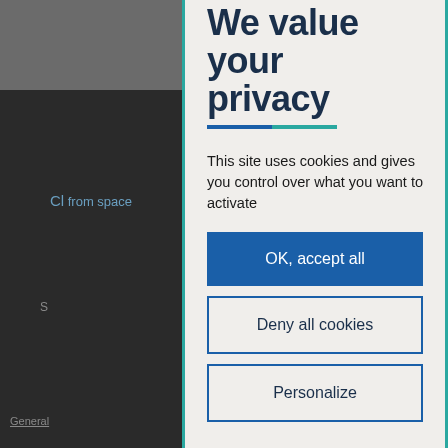We value your privacy
This site uses cookies and gives you control over what you want to activate
OK, accept all
Deny all cookies
Personalize